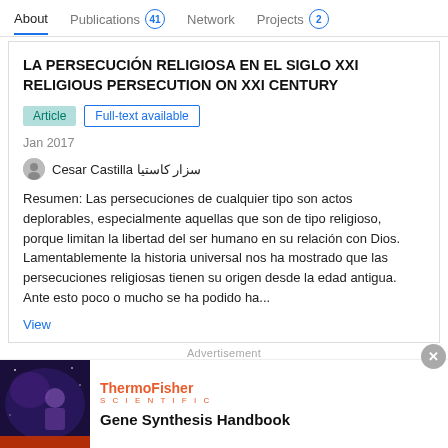About   Publications 41   Network   Projects 2
LA PERSECUCIÓN RELIGIOSA EN EL SIGLO XXI RELIGIOUS PERSECUTION ON XXI CENTURY
Article   Full-text available
Jan 2017
Cesar Castilla سزار کاستیا
Resumen: Las persecuciones de cualquier tipo son actos deplorables, especialmente aquellas que son de tipo religioso, porque limitan la libertad del ser humano en su relación con Dios. Lamentablemente la historia universal nos ha mostrado que las persecuciones religiosas tienen su origen desde la edad antigua. Ante esto poco o mucho se ha podido ha...
View
Advertisement
[Figure (photo): Thermo Fisher Scientific advertisement showing Gene Synthesis Handbook with a person in lab on dark background]